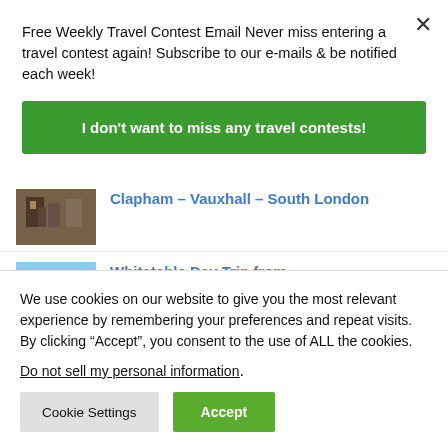Free Weekly Travel Contest Email Never miss entering a travel contest again! Subscribe to our e-mails & be notified each week!
I don't want to miss any travel contests!
[Figure (photo): Thumbnail image related to Clapham – Vauxhall – South London article]
Clapham – Vauxhall – South London
[Figure (photo): Thumbnail image related to Whitstable Day Trip from article]
Whitstable Day Trip from
We use cookies on our website to give you the most relevant experience by remembering your preferences and repeat visits. By clicking “Accept”, you consent to the use of ALL the cookies.
Do not sell my personal information.
Cookie Settings
Accept